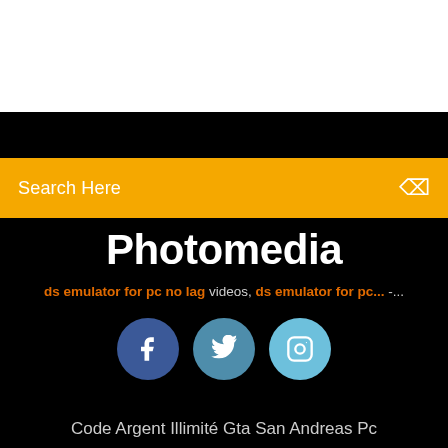[Figure (screenshot): White top area of a web page screenshot]
Search Here
Photomedia
ds emulator for pc no lag videos, ds emulator for pc... -...
[Figure (infographic): Social media icons: Facebook, Twitter, Instagram as colored circles]
Code Argent Illimité Gta San Andreas Pc Bouyguea Lire Mes Messages...